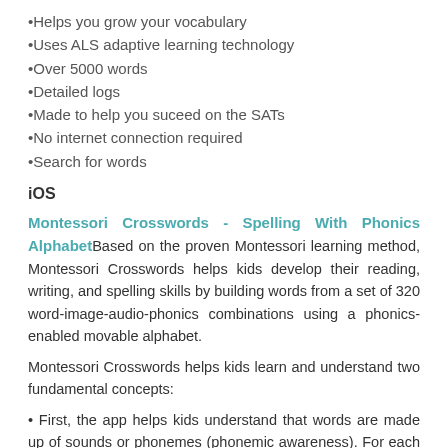•Helps you grow your vocabulary
•Uses ALS adaptive learning technology
•Over 5000 words
•Detailed logs
•Made to help you suceed on the SATs
•No internet connection required
•Search for words
iOS
Montessori Crosswords - Spelling With Phonics AlphabetBased on the proven Montessori learning method, Montessori Crosswords helps kids develop their reading, writing, and spelling skills by building words from a set of 320 word-image-audio-phonics combinations using a phonics-enabled movable alphabet.
Montessori Crosswords helps kids learn and understand two fundamental concepts:
• First, the app helps kids understand that words are made up of sounds or phonemes (phonemic awareness). For each word, your kids can touch the empty rectangles where letters must be dragged to complete the word, and hear the sound that corresponds to the letter.
• Secondly, the app helps kids memorize the phonics associated with letters by providing a phonics-enabled alphabet where kids can